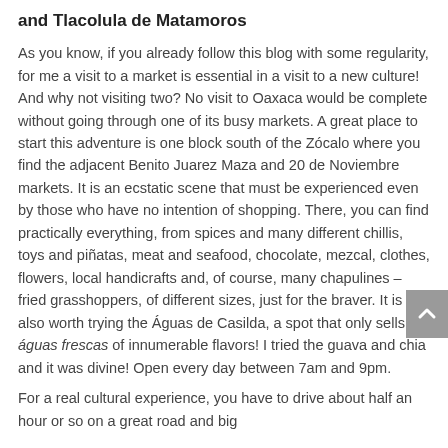and Tlacolula de Matamoros
As you know, if you already follow this blog with some regularity, for me a visit to a market is essential in a visit to a new culture! And why not visiting two? No visit to Oaxaca would be complete without going through one of its busy markets. A great place to start this adventure is one block south of the Zócalo where you find the adjacent Benito Juarez Maza and 20 de Noviembre markets. It is an ecstatic scene that must be experienced even by those who have no intention of shopping. There, you can find practically everything, from spices and many different chillis, toys and piñatas, meat and seafood, chocolate, mezcal, clothes, flowers, local handicrafts and, of course, many chapulines – fried grasshoppers, of different sizes, just for the braver. It is also worth trying the Águas de Casilda, a spot that only sells águas frescas of innumerable flavors! I tried the guava and chia and it was divine! Open every day between 7am and 9pm.
For a real cultural experience, you have to drive about half an hour or so on a great road and big...